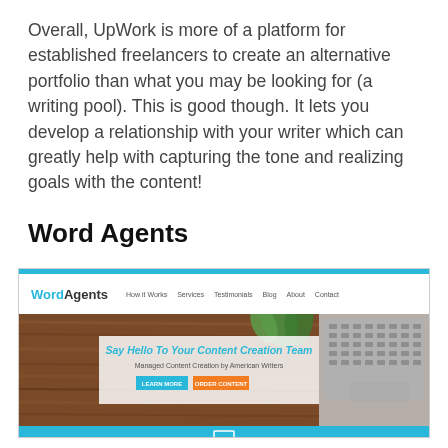Overall, UpWork is more of a platform for established freelancers to create an alternative portfolio than what you may be looking for (a writing pool). This is good though. It lets you develop a relationship with your writer which can greatly help with capturing the tone and realizing goals with the content!
Word Agents
[Figure (screenshot): Screenshot of the Word Agents website homepage, showing the logo, navigation links (How it Works, Services, Testimonials, Blog, About, Contact), a hero image of a wooden desk with a laptop keyboard and plant, a text overlay reading 'Say Hello To Your Content Creation Team' and subheading 'Managed Content Creation by American Writers', with two buttons: LEARN MORE and ORDER CONTENT.]